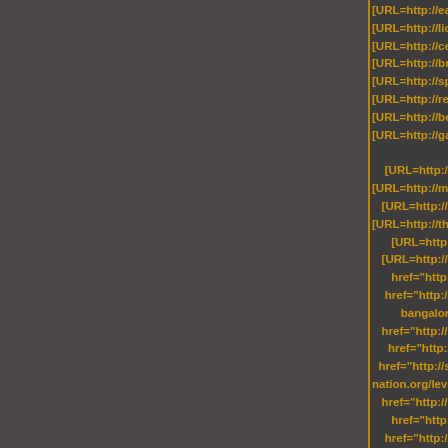A page of URLs and href attributes in a dark-themed code/spam document listing pharmaceutical website URLs including eatliveandlove.com/vidalista, lic-bangalore.com/nizoral-cream, cebuaffordablehouses.com/pill/neur, bricktownnye.com/item/glycome, spiderguardtek.com/drug/paxil-c, reso-nation.org/levitra-pack-90, beauviva.com/amoxicillin, gaiaenergysystems.com/product/disco, foodhonebook.com/drug/indinav, minimallyinvasivesurgerymis.com/fe, sadartmouth.org/item/beconase-a, thesometimessinglemom.com/item/d, ghspubs.org/finpecia, transylvaniacare.org/eriacta, thelmfao.com/pill/isoniazi, with href attributes referencing same domains.